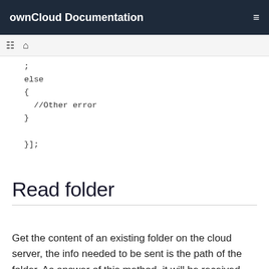ownCloud Documentation
;
  else
  {
    //Other error
  }

  }];
Read folder
Get the content of an existing folder on the cloud server, the info needed to be sent is the path of the folder. As answer of this method, it will be received